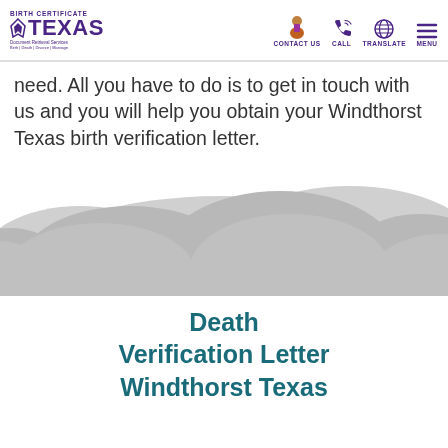BIRTH CERTIFICATE TEXAS | CONTACT US | CALL | TRANSLATE | MENU
need. All you have to do is to get in touch with us and you will help you obtain your Windthorst Texas birth verification letter.
[Figure (illustration): Grey cloud/hill shapes decorative illustration at the bottom of the section]
Death Verification Letter Windthorst Texas